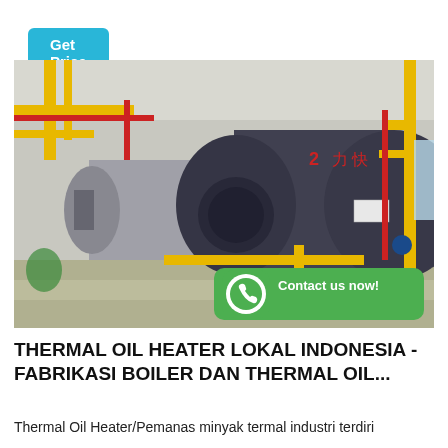[Figure (other): Get Price button — cyan/teal rounded rectangle button in top-left corner]
[Figure (photo): Industrial boiler room with two large cylindrical horizontal fire-tube boilers (dark gray/silver), yellow-painted pipe racks, red piping, and a green 'Contact us now!' WhatsApp banner overlay at bottom-right of the image.]
THERMAL OIL HEATER LOKAL INDONESIA - FABRIKASI BOILER DAN THERMAL OIL...
Thermal Oil Heater/Pemanas minyak termal industri terdiri